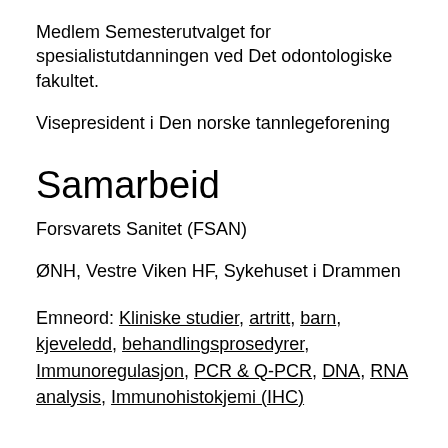Medlem Semesterutvalget for spesialistutdanningen ved Det odontologiske fakultet.
Visepresident i Den norske tannlegeforening
Samarbeid
Forsvarets Sanitet (FSAN)
ØNH, Vestre Viken HF, Sykehuset i Drammen
Emneord: Kliniske studier, artritt, barn, kjeveledd, behandlingsprosedyrer, Immunoregulasjon, PCR & Q-PCR, DNA, RNA analysis, Immunohistokjemi (IHC)